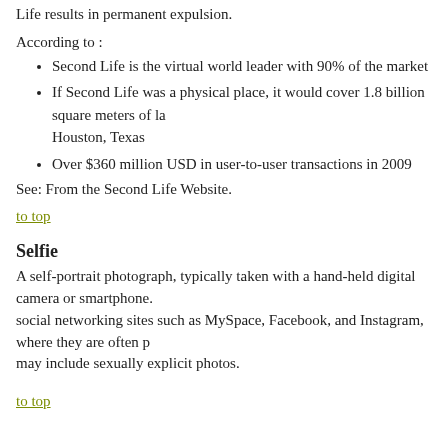Life results in permanent expulsion.
According to :
Second Life is the virtual world leader with 90% of the market
If Second Life was a physical place, it would cover 1.8 billion square meters of la... Houston, Texas
Over $360 million USD in user-to-user transactions in 2009
See: From the Second Life Website.
to top
Selfie
A self-portrait photograph, typically taken with a hand-held digital camera or smartphone. social networking sites such as MySpace, Facebook, and Instagram, where they are often p... may include sexually explicit photos.
to top